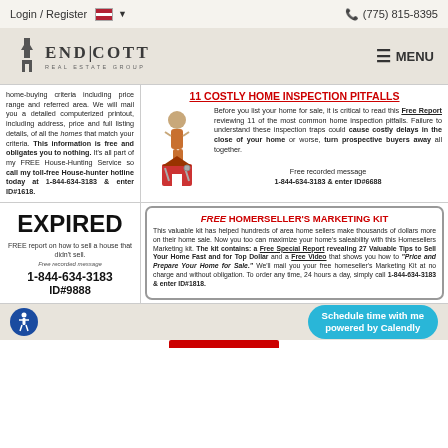Login / Register   (775) 815-8395
[Figure (logo): Endicott Real Estate Group logo with house icon]
home-buying criteria including price range and referred area. We will mail you a detailed computerized printout, including address, price and full listing details, of all the homes that match your criteria. This information is free and obligates you to nothing. It's all part of my FREE House-Hunting Service so call my toll-free House-hunter hotline today at 1-844-634-3183 & enter ID#1618.
11 COSTLY HOME INSPECTION PITFALLS
Before you list your home for sale, it is critical to read this Free Report reviewing 11 of the most common home inspection pitfalls. Failure to understand these inspection traps could cause costly delays in the close of your home or worse, turn prospective buyers away all together.

Free recorded message
1-844-634-3183 & enter ID#6688
EXPIRED
FREE report on how to sell a house that didn't sell.
Free recorded message
1-844-634-3183
ID#9888
FREE HOMERSELLER'S MARKETING KIT
This valuable kit has helped hundreds of area home sellers make thousands of dollars more on their home sale. Now you too can maximize your home's saleability with this Homesellers Marketing kit. The kit contains: a Free Special Report revealing 27 Valuable Tips to Sell Your Home Fast and for Top Dollar and a Free Video that shows you how to "Price and Prepare Your Home for Sale." We'll mail you your free homeseller's Marketing Kit at no charge and without obligation. To order any time, 24 hours a day, simply call 1-844-634-3183 & enter ID#1818.
Schedule time with me powered by Calendly